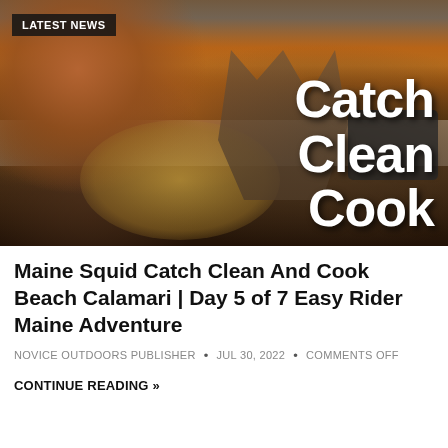[Figure (photo): Thumbnail image showing a man with a red beard holding a basket of squid, with driftwood shelter and motorcycle in background at sunset. Large white bold text reads 'Catch Clean Cook'. Black badge in top-left reads 'LATEST NEWS'.]
Maine Squid Catch Clean And Cook Beach Calamari | Day 5 of 7 Easy Rider Maine Adventure
NOVICE OUTDOORS PUBLISHER • JUL 30, 2022 • COMMENTS OFF
CONTINUE READING »